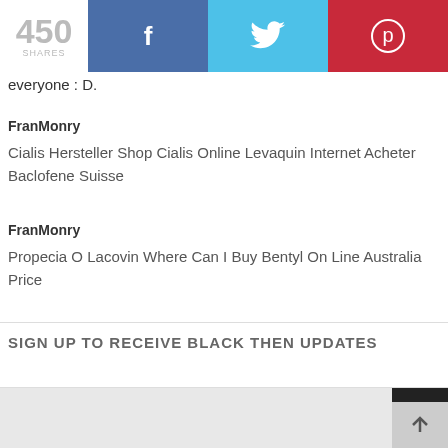450 SHARES | Facebook | Twitter | Pinterest
everyone : D.
FranMonry
Cialis Hersteller Shop Cialis Online Levaquin Internet Acheter Baclofene Suisse
FranMonry
Propecia O Lacovin Where Can I Buy Bentyl On Line Australia Price
SIGN UP TO RECEIVE BLACK THEN UPDATES